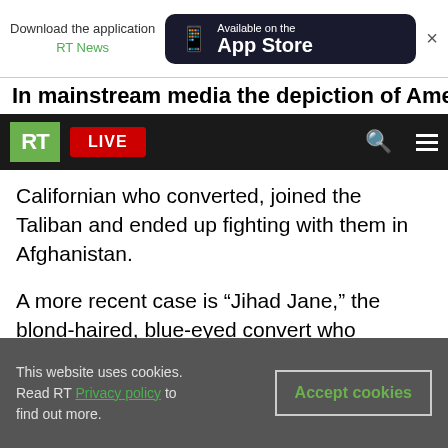[Figure (screenshot): App Store download banner for RT News app showing phone icon and App Store badge]
In mainstream media the depiction of Americans
[Figure (screenshot): RT News navigation bar with green RT logo, red LIVE button, search icon, and hamburger menu]
Californian who converted, joined the Taliban and ended up fighting with them in Afghanistan.
A more recent case is “Jihad Jane,” the blond-haired, blue-eyed convert who allegedly recruited people to wage violent jihad.
“It does upset me a little bit, because there are a lot of preconceptions that people have,” confesses Carl Dodge. “And until I actually took the time to open a Koran and see what was written, my only
This website uses cookies. Read RT Privacy policy to find out more.